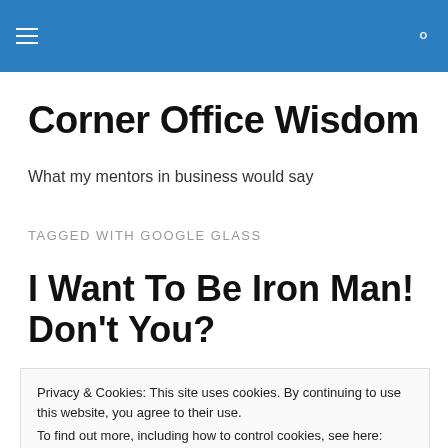Corner Office Wisdom
Corner Office Wisdom
What my mentors in business would say
TAGGED WITH GOOGLE GLASS
I Want To Be Iron Man! Don't You?
Privacy & Cookies: This site uses cookies. By continuing to use this website, you agree to their use.
To find out more, including how to control cookies, see here: Cookie Policy
Close and accept